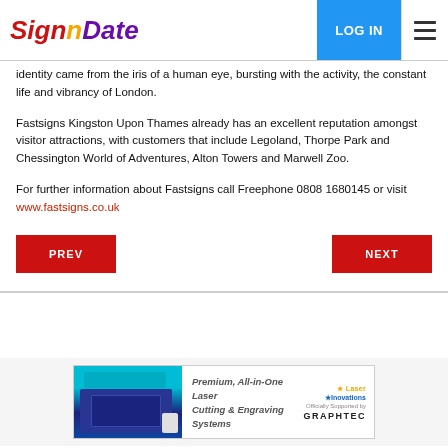SignnDate | LOG IN | menu
identity came from the iris of a human eye, bursting with the activity, the constant life and vibrancy of London.
Fastsigns Kingston Upon Thames already has an excellent reputation amongst visitor attractions, with customers that include Legoland, Thorpe Park and Chessington World of Adventures, Alton Towers and Marwell Zoo.
For further information about Fastsigns call Freephone 0808 1680145 or visit www.fastsigns.co.uk
[Figure (screenshot): Advertisement banner for Premium, All-in-One Laser Cutting & Engraving Systems by Graphtec, with an image of a laser machine on the left and text and logos on the right.]